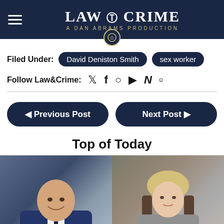LAW & CRIME — A DAN ABRAMS PRODUCTION
Filed Under: David Deniston Smith  sex worker
Follow Law&Crime:
◄ Previous Post    Next Post ►
Top of Today
[Figure (photo): Two side-by-side photos: left shows a bald man in a dark suit smiling; right shows a blonde woman in a grey jacket seated.]